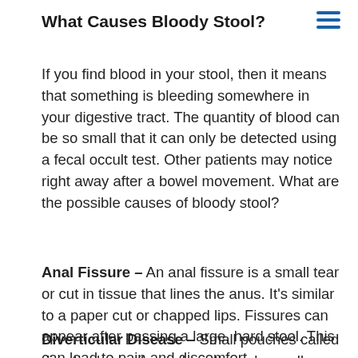What Causes Bloody Stool?
If you find blood in your stool, then it means that something is bleeding somewhere in your digestive tract. The quantity of blood can be so small that it can only be detected using a fecal occult test. Other patients may notice right away after a bowel movement. What are the possible causes of bloody stool?
Anal Fissure – An anal fissure is a small tear or cut in tissue that lines the anus. It’s similar to a paper cut or chapped lips. Fissures can appear after passing a large, hard stool. This can lead to pain and discomfort.
Diverticular Disease – Small pouches called diverticula can form along the colon wall. They